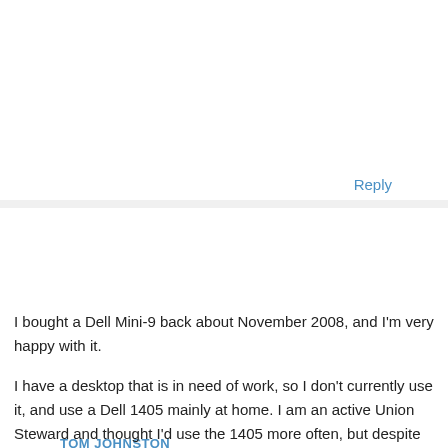Reply
TOM JOHNSTON
MAY 14, 2009 AT 5:59 PM
I bought a Dell Mini-9 back about November 2008, and I'm very happy with it.
I have a desktop that is in need of work, so I don't currently use it, and use a Dell 1405 mainly at home. I am an active Union Steward and thought I'd use the 1405 more often, but despite being relatively compact it's still a pain to take around, especially for prolonged